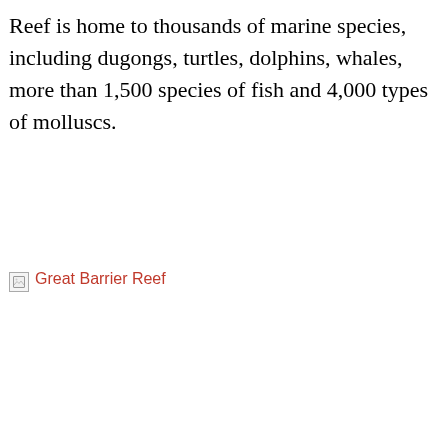Reef is home to thousands of marine species, including dugongs, turtles, dolphins, whales, more than 1,500 species of fish and 4,000 types of molluscs.
[Figure (other): Broken image placeholder with link text 'Great Barrier Reef' in red/coral color]
[Figure (infographic): Promoted advertisement section with two ad cards. Left ad: 'Silence Tinnitus By Doing This Once Daily!' with 337 engagements. Right ad: 'A Teaspoon On An Empty Stomach Burns Fat Like Crazy!' with 151,125 engagements.]